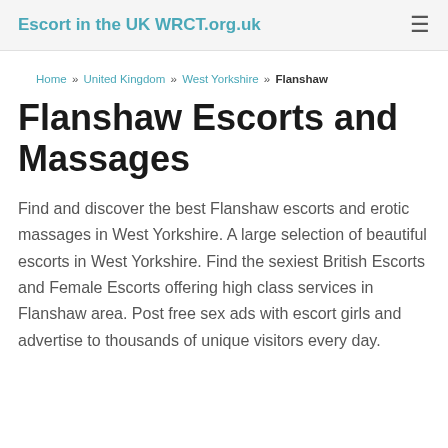Escort in the UK WRCT.org.uk
Home » United Kingdom » West Yorkshire » Flanshaw
Flanshaw Escorts and Massages
Find and discover the best Flanshaw escorts and erotic massages in West Yorkshire. A large selection of beautiful escorts in West Yorkshire. Find the sexiest British Escorts and Female Escorts offering high class services in Flanshaw area. Post free sex ads with escort girls and advertise to thousands of unique visitors every day.